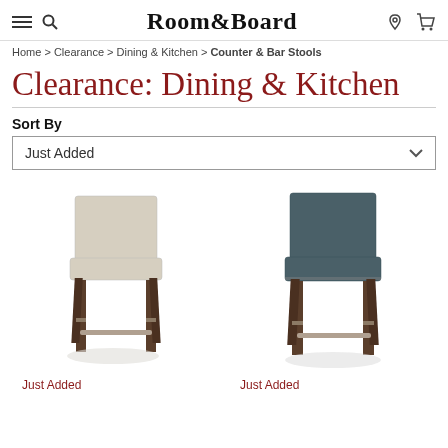Room&Board
Home > Clearance > Dining & Kitchen > Counter & Bar Stools
Clearance: Dining & Kitchen
Sort By
Just Added
[Figure (photo): Beige upholstered bar stool with dark wood legs and metal footrest]
[Figure (photo): Dark teal/grey upholstered bar stool with dark wood legs and metal footrest]
Just Added
Just Added